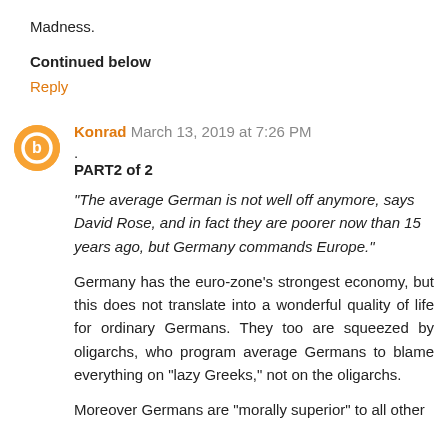Madness.
Continued below
Reply
Konrad  March 13, 2019 at 7:26 PM
.
PART2 of 2
“The average German is not well off anymore, says David Rose, and in fact they are poorer now than 15 years ago, but Germany commands Europe.”
Germany has the euro-zone’s strongest economy, but this does not translate into a wonderful quality of life for ordinary Germans. They too are squeezed by oligarchs, who program average Germans to blame everything on “lazy Greeks,” not on the oligarchs.
Moreover Germans are “morally superior” to all other